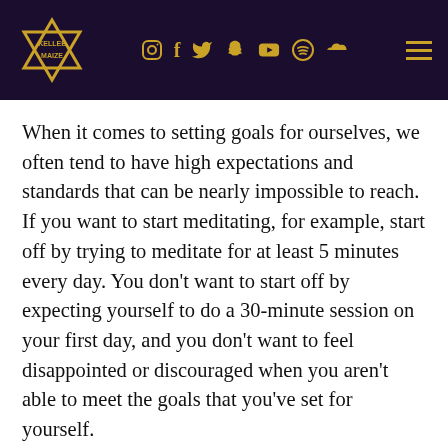Kellee Maize — navigation header with social icons
When it comes to setting goals for ourselves, we often tend to have high expectations and standards that can be nearly impossible to reach. If you want to start meditating, for example, start off by trying to meditate for at least 5 minutes every day. You don't want to start off by expecting yourself to do a 30-minute session on your first day, and you don't want to feel disappointed or discouraged when you aren't able to meet the goals that you've set for yourself.